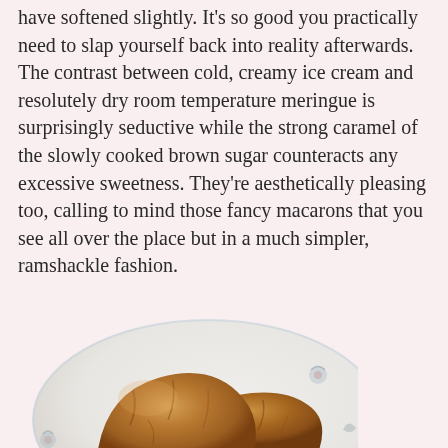have softened slightly. It's so good you practically need to slap yourself back into reality afterwards. The contrast between cold, creamy ice cream and resolutely dry room temperature meringue is surprisingly seductive while the strong caramel of the slowly cooked brown sugar counteracts any excessive sweetness. They're aesthetically pleasing too, calling to mind those fancy macarons that you see all over the place but in a much simpler, ramshackle fashion.
[Figure (photo): Photo of brown sugar meringue sandwiches filled with ice cream, placed on a blue and white floral patterned plate. The meringues are golden-brown in color with a rough, rustic texture.]